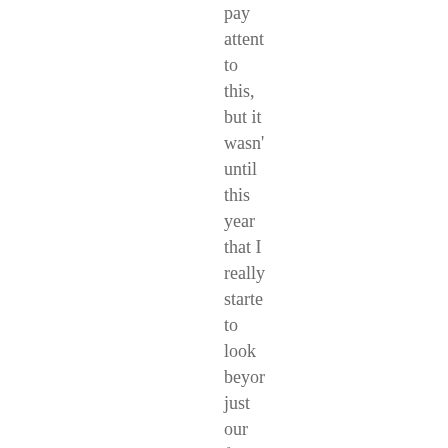pay attent to this, but it wasn' until this year that I really starte to look beyor just our food. I thoug